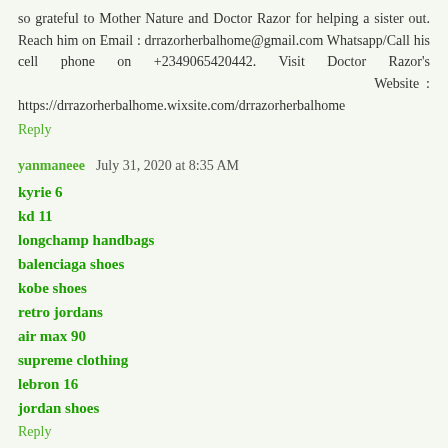so grateful to Mother Nature and Doctor Razor for helping a sister out. Reach him on Email : drrazorherbalhome@gmail.com Whatsapp/Call his cell phone on +2349065420442. Visit Doctor Razor's Website : https://drrazorherbalhome.wixsite.com/drrazorherbalhome
Reply
yanmaneee  July 31, 2020 at 8:35 AM
kyrie 6
kd 11
longchamp handbags
balenciaga shoes
kobe shoes
retro jordans
air max 90
supreme clothing
lebron 16
jordan shoes
Reply